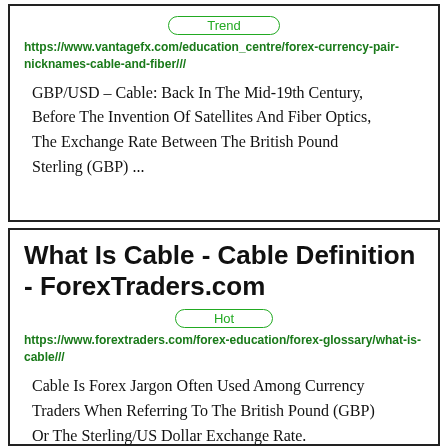Trend
https://www.vantagefx.com/education_centre/forex-currency-pair-nicknames-cable-and-fiber///
GBP/USD – Cable: Back In The Mid-19th Century, Before The Invention Of Satellites And Fiber Optics, The Exchange Rate Between The British Pound Sterling (GBP) ...
What Is Cable - Cable Definition - ForexTraders.com
Hot
https://www.forextraders.com/forex-education/forex-glossary/what-is-cable///
Cable Is Forex Jargon Often Used Among Currency Traders When Referring To The British Pound (GBP) Or The Sterling/US Dollar Exchange Rate.